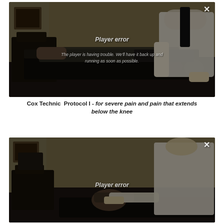[Figure (photo): Video screenshot showing a patient lying prone on a chiropractic treatment table while a doctor in a white coat performs Cox Technic spinal manipulation. A player error overlay is displayed over the video. An X close button appears in the top right corner.]
Cox Technic Protocol I - for severe pain and pain that extends below the knee
[Figure (photo): Second video screenshot showing a chiropractic treatment room with a doctor in a white coat and a patient. A player error overlay is displayed. An X close button appears in the top right corner.]